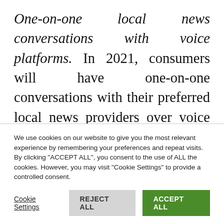One-on-one local news conversations with voice platforms. In 2021, consumers will have one-on-one conversations with their preferred local news providers over voice platforms. Chatbots and messaging apps with these kinds of personalized conversations are already prevalent in other areas, including news. As these interactions extend to voice platforms, local news will be delivered not just as a request for a headline but
We use cookies on our website to give you the most relevant experience by remembering your preferences and repeat visits. By clicking "ACCEPT ALL", you consent to the use of ALL the cookies. However, you may visit "Cookie Settings" to provide a controlled consent.
Cookie Settings | REJECT ALL | ACCEPT ALL